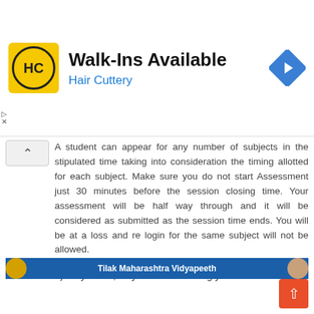[Figure (infographic): Walk-Ins Available Hair Cuttery advertisement banner with yellow HC logo and blue navigation arrow icon]
A student can appear for any number of subjects in the stipulated time taking into consideration the timing allotted for each subject. Make sure you do not start Assessment just 30 minutes before the session closing time. Your assessment will be half way through and it will be considered as submitted as the session time ends. You will be at a loss and re login for the same subject will not be allowed.
7) Stay home, stay safe and wishing you all the best!!!!
[Figure (screenshot): Tilak Maharashtra Vidyapeeth banner at the bottom]